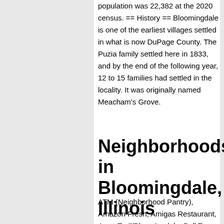population was 22,382 at the 2020 census. == History == Bloomingdale is one of the earliest villages settled in what is now DuPage County. The Puzia family settled here in 1833, and by the end of the following year, 12 to 15 families had settled in the locality. It was originally named Meacham's Grove.
Neighborhoods in Bloomingdale, Illinois
ATM (Neighborhood Pantry), Amazon Fresh, Amigas Restaurant, Army Trail/Bloomingdale, Bell Tower III, Binny's Beverage Depot -